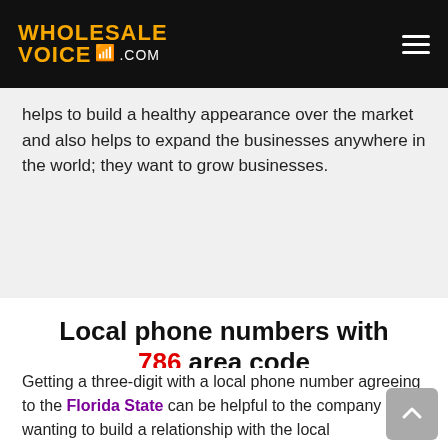WHOLESALE VOICE .com
helps to build a healthy appearance over the market and also helps to expand the businesses anywhere in the world; they want to grow businesses.
Local phone numbers with 786 area code
Getting a three-digit with a local phone number agreeing to the Florida State can be helpful to the company wanting to build a relationship with the local